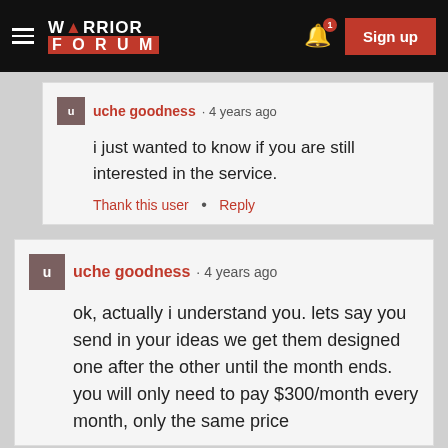WARRIOR FORUM — Sign up
uche goodness · 4 years ago
i just wanted to know if you are still interested in the service.
Thank this user • Reply
uche goodness · 4 years ago
ok, actually i understand you. lets say you send in your ideas we get them designed one after the other until the month ends. you will only need to pay $300/month every month, only the same price